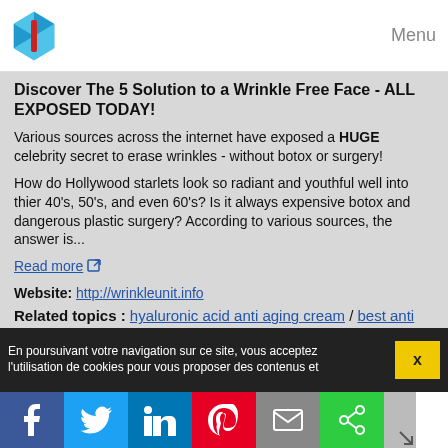Menu
Discover The 5 Solution to a Wrinkle Free Face - ALL EXPOSED TODAY!
Various sources across the internet have exposed a HUGE celebrity secret to erase wrinkles - without botox or surgery!
How do Hollywood starlets look so radiant and youthful well into thier 40's, 50's, and even 60's? Is it always expensive botox and dangerous plastic surgery? According to various sources, the answer is...
Read more
Website: http://wrinkleunit.info
Related topics : hyaluronic acid anti aging cream / best anti aging eye cream products / anti aging wrinkle cream ingredients / anti aging anti wrinkle eye cream / anti aging skin cream ingredients
En poursuivant votre navigation sur ce site, vous acceptez l'utilisation de cookies pour vous proposer des contenus et